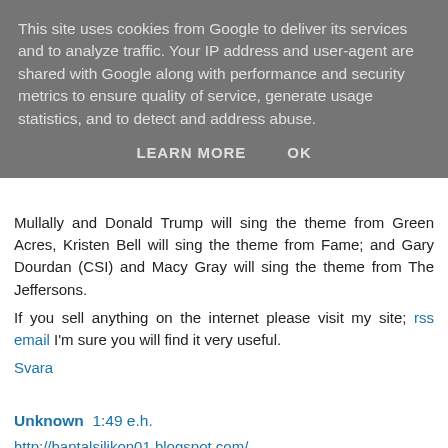This site uses cookies from Google to deliver its services and to analyze traffic. Your IP address and user-agent are shared with Google along with performance and security metrics to ensure quality of service, generate usage statistics, and to detect and address abuse.
LEARN MORE   OK
Mullally and Donald Trump will sing the theme from Green Acres, Kristen Bell will sing the theme from Fame; and Gary Dourdan (CSI) and Macy Gray will sing the theme from The Jeffersons.
If you sell anything on the internet please visit my site; rss email I'm sure you will find it very useful.
Svara
Unknown 1:49 e.h.
http://bantalsilikon01.blogspot.com/
jual bantal jual bantal jual bantal jual bantal jual bantal jual bantal jual bantal jual bantal jual bantal